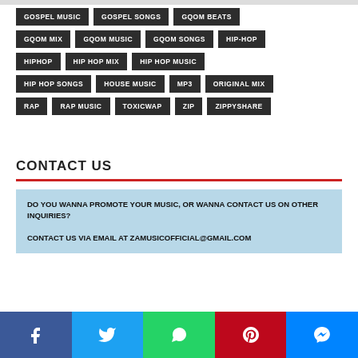GOSPEL MUSIC
GOSPEL SONGS
GQOM BEATS
GQOM MIX
GQOM MUSIC
GQOM SONGS
HIP-HOP
HIPHOP
HIP HOP MIX
HIP HOP MUSIC
HIP HOP SONGS
HOUSE MUSIC
MP3
ORIGINAL MIX
RAP
RAP MUSIC
TOXICWAP
ZIP
ZIPPYSHARE
CONTACT US
DO YOU WANNA PROMOTE YOUR MUSIC, OR WANNA CONTACT US ON OTHER INQUIRIES?

CONTACT US VIA EMAIL AT zamusicofficial@gmail.com
[Figure (other): Social media share buttons: Facebook, Twitter, WhatsApp, Pinterest, Messenger]